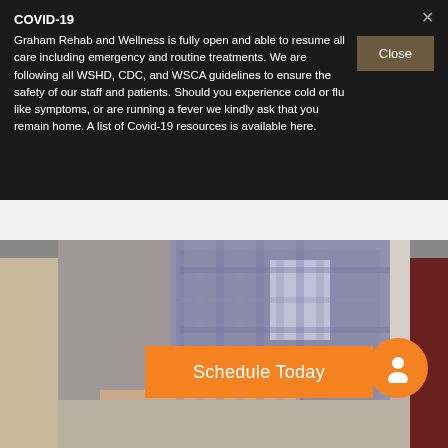COVID-19
Graham Rehab and Wellness is fully open and able to resume all care including emergency and routine treatments. We are following all WSHD, CDC, and WSCA guidelines to ensure the safety of our staff and patients. Should you experience cold or flu like symptoms, or are running a fever we kindly ask that you remain home. A list of Covid-19 resources is available here.
[Figure (photo): Photo of a healthcare professional in a checkered shirt holding a patient's hands, with an orange 'Schedule Today' button overlay and an orange circular person icon on the right]